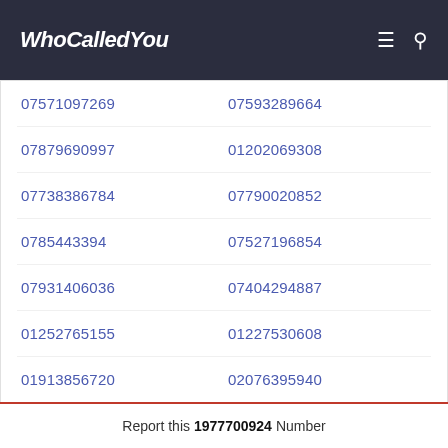WhoCalledYou
07571097269
07593289664
07879690997
01202069308
07738386784
07790020852
0785443394
07527196854
07931406036
07404294887
01252765155
01227530608
01913856720
02076395940
02074283000
01430432334
07944582839
01618146419
Report this 1977700924 Number